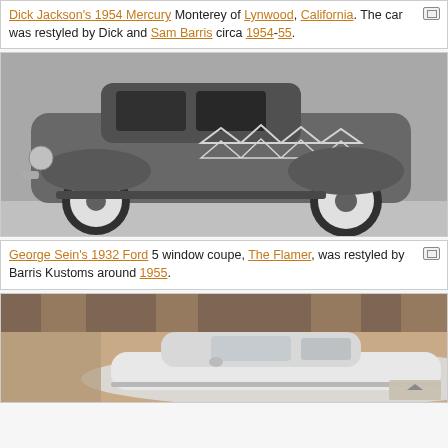Dick Jackson's 1954 Mercury Monterey of Lynwood, California. The car was restyled by Dick and Sam Barris circa 1954-55.
[Figure (photo): Black and white photograph of George Sein's 1932 Ford 5 window coupe called The Flamer, restyled by Barris Kustoms around 1955. Side view showing flame-like decorations on the body, white wall tires.]
George Sein's 1932 Ford 5 window coupe, The Flamer, was restyled by Barris Kustoms around 1955.
[Figure (photo): Sepia-toned photograph of a custom car (partial view), taken in front of a building with large columns.]